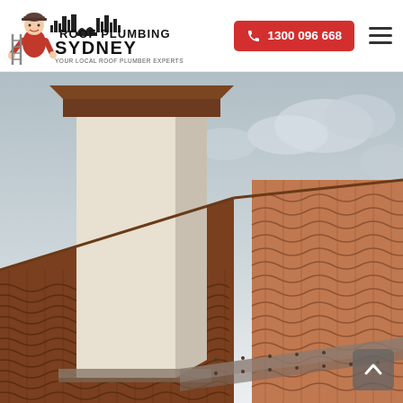[Figure (logo): Roof Plumbing Sydney logo with cartoon plumber character and Sydney skyline silhouette. Text reads: ROOF PLUMBING SYDNEY - Your Local Roof Plumber Experts]
1300 096 668
[Figure (photo): Close-up photograph of a residential roof with terracotta/brown clay roof tiles, showing a white rendered chimney or parapet wall in the left-center, with cloudy sky in the background. Metal flashing visible at the base of the chimney.]
[Figure (other): Scroll-to-top button (upward chevron arrow) in grey rounded rectangle at bottom-right]